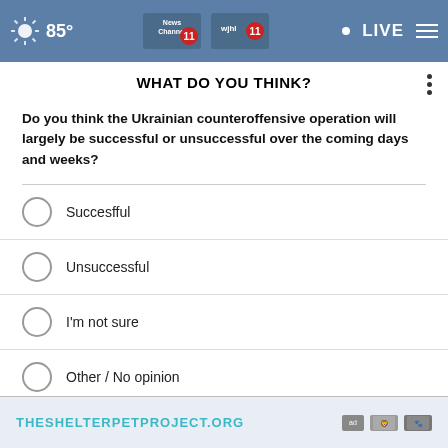85° | News Channel 11 wjhl | LIVE
WHAT DO YOU THINK?
Do you think the Ukrainian counteroffensive operation will largely be successful or unsuccessful over the coming days and weeks?
Succesfful
Unsuccessful
I'm not sure
Other / No opinion
NEXT *
* By clicking "NEXT" you agree to the following: We use cookies to track your survey answers. If you would like to continue with this survey, please read and agree to the CivicScience Privacy Policy and Terms of Service.
[Figure (other): Advertisement banner for THESHELTERPETPROJECT.ORG]